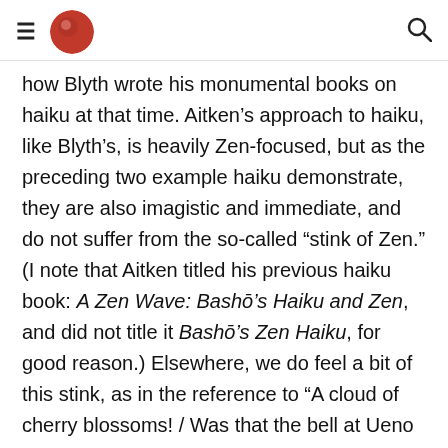[hamburger menu] [logo] [search icon]
how Blyth wrote his monumental books on haiku at that time. Aitken’s approach to haiku, like Blyth’s, is heavily Zen-focused, but as the preceding two example haiku demonstrate, they are also imagistic and immediate, and do not suffer from the so-called “stink of Zen.” (I note that Aitken titled his previous haiku book: A Zen Wave: Bashō’s Haiku and Zen, and did not title it Bashō’s Zen Haiku, for good reason.) Elsewhere, we do feel a bit of this stink, as in the reference to “A cloud of cherry blossoms! / Was that the bell at Ueno or Asakusa?” where Aitken says this “is an experience old-time Zen students everywhere can relate to.” This seems to